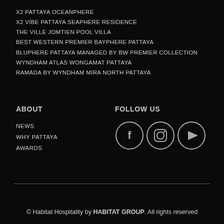X2 PATTAYA OCEANPHERE
X2 VIBE PATTAYA SEAPHERE RESIDENCE
THE VILLE JOMTIEN POOL VILLA
BEST WESTERN PREMIER BAYPHERE PATTAYA
BLUPHERE PATTAYA MANAGED BY BW PREMIER COLLECTION
WYNDHAM ATLAS WONGAMAT PATTAYA
RAMADA BY WYNDHAM MIRA NORTH PATTAYA
ABOUT
FOLLOW US
NEWS
WHY PATTAYA
AWARDS
[Figure (illustration): Social media icons: Facebook, Instagram, YouTube — circular outline icons in grey]
© Habitat Hospitality by HABITAT GROUP. All rights reserved